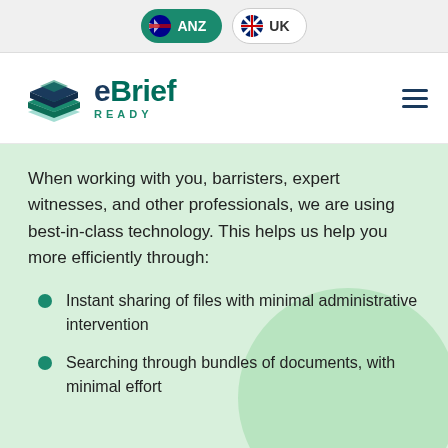ANZ | UK
[Figure (logo): eBrief Ready logo with stacked book/folder icon in dark teal and green]
When working with you, barristers, expert witnesses, and other professionals, we are using best-in-class technology. This helps us help you more efficiently through:
Instant sharing of files with minimal administrative intervention
Searching through bundles of documents, with minimal effort